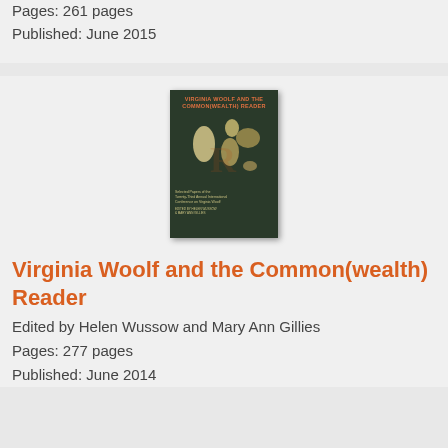Pages: 261 pages
Published: June 2015
[Figure (illustration): Book cover of 'Virginia Woolf and the Common(wealth) Reader' with dark green background and a map silhouette]
Virginia Woolf and the Common(wealth) Reader
Edited by Helen Wussow and Mary Ann Gillies
Pages: 277 pages
Published: June 2014